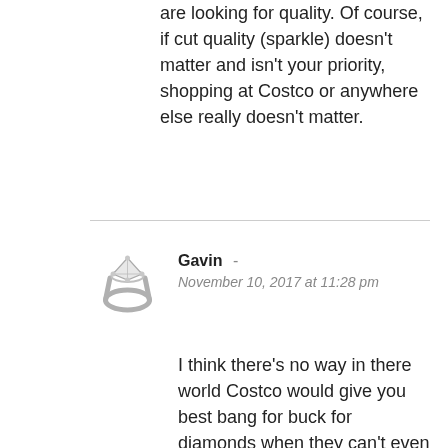are looking for quality. Of course, if cut quality (sparkle) doesn't matter and isn't your priority, shopping at Costco or anywhere else really doesn't matter.
[Figure (illustration): Diamond engagement ring icon used as commenter avatar]
Gavin - November 10, 2017 at 11:28 pm
I think there's no way in there world Costco would give you best bang for buck for diamonds when they can't even give best sangers for buck. Consistently seeing better discounts in other places for groceries hardwares etc. Costco just sells things in bulk but price per kilo is shit. This is coming from Costco Australia but I've been to Costco Stateside. So I agree with